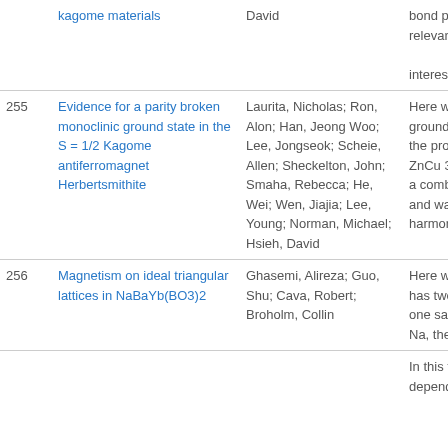| # | Title | Authors | Abstract |
| --- | --- | --- | --- |
|  | kagome materials | David | bond patte
relevance to
interesting |
| 255 | Evidence for a parity broken monoclinic ground state in the S = 1/2 Kagome antiferromagnet Herbertsmithite | Laurita, Nicholas; Ron, Alon; Han, Jeong Woo; Lee, Jongseok; Scheie, Allen; Sheckelton, John; Smaha, Rebecca; He, Wei; Wen, Jiajia; Lee, Young; Norman, Michael; Hsieh, David | Here we co
ground sta
the prototy
ZnCu 3(OH
a combinat
and wavele
harmonic o |
| 256 | Magnetism on ideal triangular lattices in NaBaYb(BO3)2 | Ghasemi, Alireza; Guo, Shu; Cava, Robert; Broholm, Collin | Here we stu
has two dif
one sandwi
Na, the othe |
|  |  |  | In this talk,
dependent |